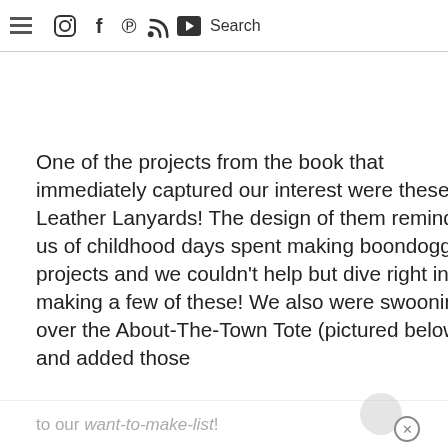☰ ⊙ f p ))) ▶ Search
One of the projects from the book that immediately captured our interest were these Leather Lanyards! The design of them reminded us of childhood days spent making boondoggle projects and we couldn't help but dive right in on making a few of these! We also were swooning over the About-The-Town Tote (pictured below) and added those to our want-to-make-list!